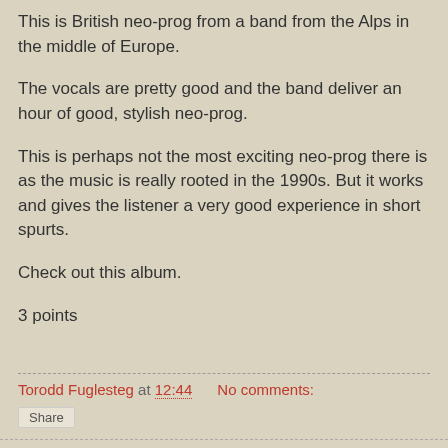This is British neo-prog from a band from the Alps in the middle of Europe.
The vocals are pretty good and the band deliver an hour of good, stylish neo-prog.
This is perhaps not the most exciting neo-prog there is as the music is really rooted in the 1990s. But it works and gives the listener a very good experience in short spurts.
Check out this album.
3 points
Torodd Fuglesteg at 12:44    No comments:
Share